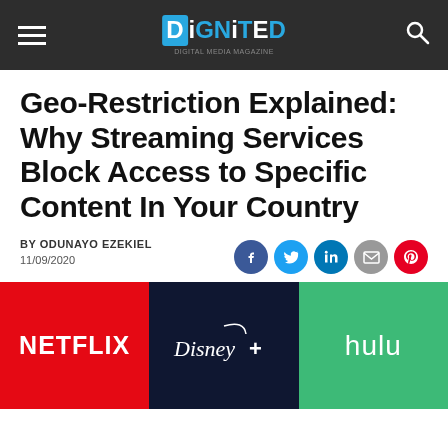DiGNiTED
Geo-Restriction Explained: Why Streaming Services Block Access to Specific Content In Your Country
BY ODUNAYO EZEKIEL
11/09/2020
[Figure (logo): Streaming service logos: Netflix, Disney+, Hulu side by side]